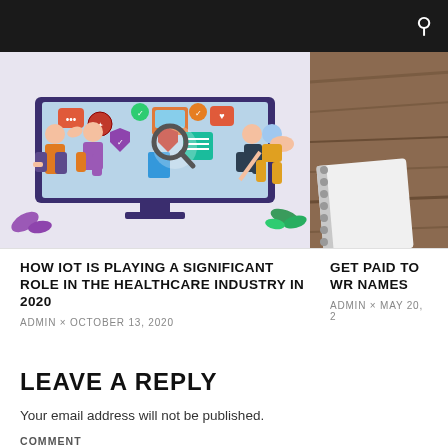[Figure (illustration): Digital health IoT illustration showing people interacting with a large computer monitor displaying various health and digital icons]
[Figure (photo): Partial view of a spiral notebook on a wooden table surface]
HOW IOT IS PLAYING A SIGNIFICANT ROLE IN THE HEALTHCARE INDUSTRY IN 2020
ADMIN × OCTOBER 13, 2020
GET PAID TO WR NAMES
ADMIN × MAY 20, 2
LEAVE A REPLY
Your email address will not be published.
COMMENT